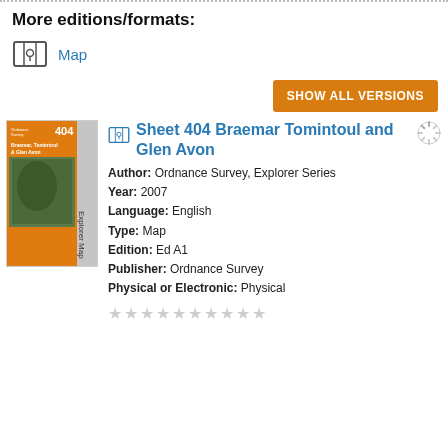More editions/formats:
Map
SHOW ALL VERSIONS
Sheet 404 Braemar Tomintoul and Glen Avon
Author: Ordnance Survey, Explorer Series
Year: 2007
Language: English
Type: Map
Edition: Ed A1
Publisher: Ordnance Survey
Physical or Electronic: Physical
[Figure (illustration): Book cover for Sheet 404 Braemar Tomintoul and Glen Avon Explorer Map, orange cover with a scenic photograph]